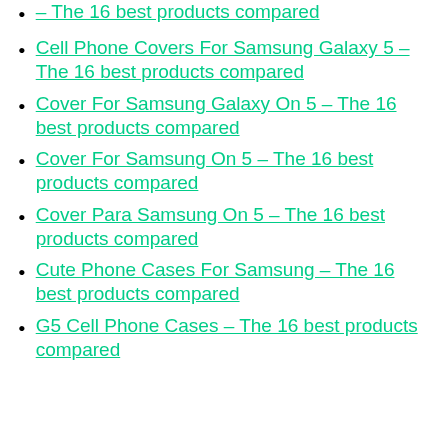– The 16 best products compared (partial, top cut off)
Cell Phone Covers For Samsung Galaxy 5 – The 16 best products compared
Cover For Samsung Galaxy On 5 – The 16 best products compared
Cover For Samsung On 5 – The 16 best products compared
Cover Para Samsung On 5 – The 16 best products compared
Cute Phone Cases For Samsung – The 16 best products compared
G5 Cell Phone Cases – The 16 best products compared